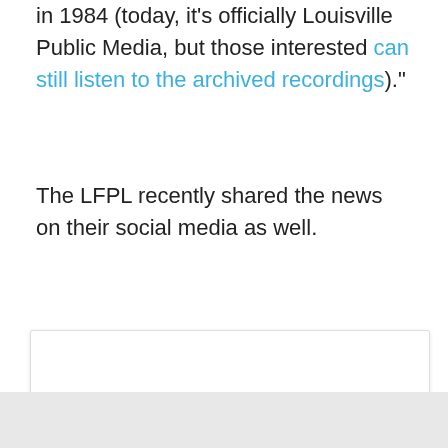in 1984 (today, it's officially Louisville Public Media, but those interested can still listen to the archived recordings)."
The LFPL recently shared the news on their social media as well.
[Figure (screenshot): A social media post embed with a gray avatar placeholder and two gray loading bar lines representing a user profile and post content.]